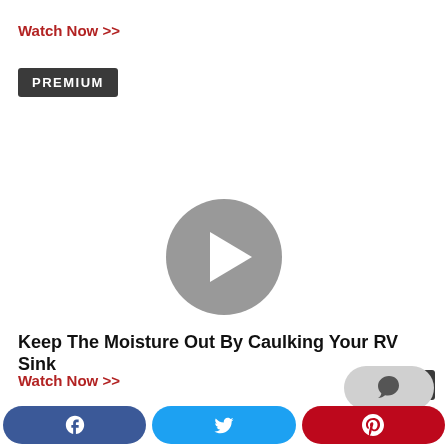Watch Now >>
PREMIUM
[Figure (other): Video thumbnail with gray play button circle in center]
3:53
Keep The Moisture Out By Caulking Your RV Sink
Watch Now >>
[Figure (other): Comment/chat bubble icon button]
PREMIUM
[Figure (other): Social share bar with Facebook, Twitter, and Pinterest buttons]